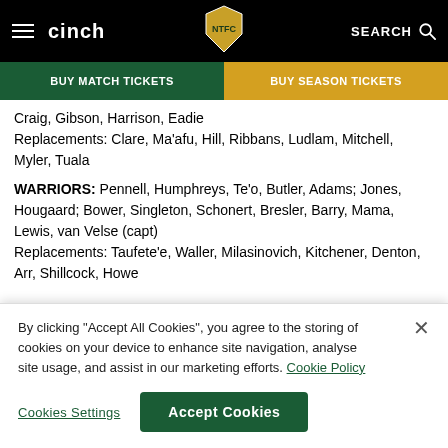cinch | BUY MATCH TICKETS | BUY SEASON TICKETS
Craig, Gibson, Harrison, Eadie
Replacements: Clare, Ma'afu, Hill, Ribbans, Ludlam, Mitchell, Myler, Tuala
WARRIORS: Pennell, Humphreys, Te'o, Butler, Adams; Jones, Hougaard; Bower, Singleton, Schonert, Bresler, Barry, Mama, Lewis, van Velse (capt)
Replacements: Taufete'e, Waller, Milasinovich, Kitchener, Denton, Arr, Shillcock, Howe
By clicking “Accept All Cookies”, you agree to the storing of cookies on your device to enhance site navigation, analyse site usage, and assist in our marketing efforts. Cookie Policy